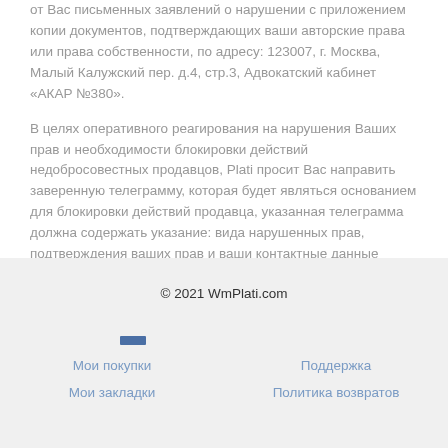от Вас письменных заявлений о нарушении с приложением копии документов, подтверждающих ваши авторские права или права собственности, по адресу: 123007, г. Москва, Малый Калужский пер. д.4, стр.3, Адвокатский кабинет «АКАР №380».
В целях оперативного реагирования на нарушения Ваших прав и необходимости блокировки действий недобросовестных продавцов, Plati просит Вас направить заверенную телеграмму, которая будет являться основанием для блокировки действий продавца, указанная телеграмма должна содержать указание: вида нарушенных прав, подтверждения ваших прав и ваши контактные данные (организиционно-правовую форму лица, Ф.И.О.). Блокировка будет снята по истечение 15 дней, в случае непредставления Вами в Адвокатский кабинет письменных документов подтверждающих ваши авторские права или права собственности.
© 2021 WmPlati.com
Мои покупки
Поддержка
Мои закладки
Политика возвратов